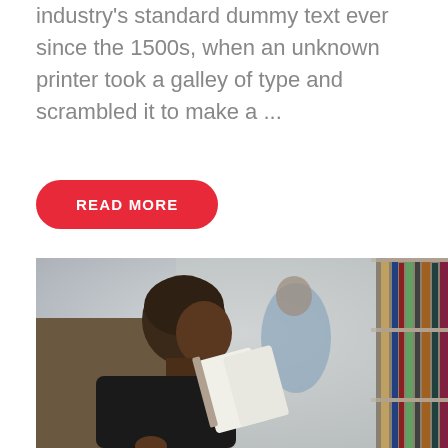industry's standard dummy text ever since the 1500s, when an unknown printer took a galley of type and scrambled it to make a ...
READ MORE
[Figure (photo): A young Black male student in a black t-shirt reading a book while standing next to library bookshelves. Another student in a blue shirt is visible in the blurred background.]